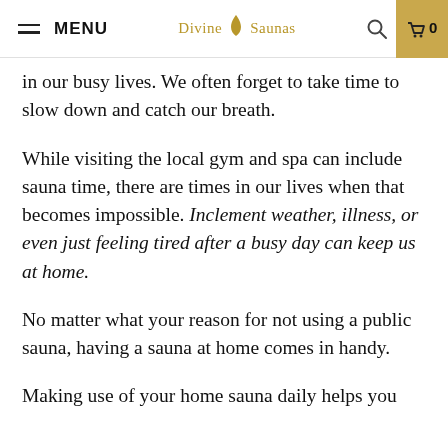MENU | Divine Saunas | 🔍 | 🛒 0
in our busy lives. We often forget to take time to slow down and catch our breath.
While visiting the local gym and spa can include sauna time, there are times in our lives when that becomes impossible. Inclement weather, illness, or even just feeling tired after a busy day can keep us at home.
No matter what your reason for not using a public sauna, having a sauna at home comes in handy.
Making use of your home sauna daily helps you